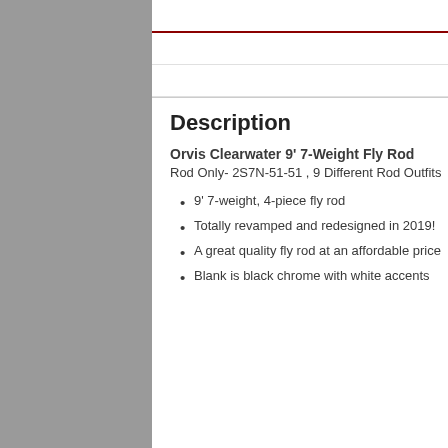Description
Additional information
Reviews (0)
Description
Orvis Clearwater 9' 7-Weight Fly Rod
Rod Only- 2S7N-51-51 , 9 Different Rod Outfits
9' 7-weight, 4-piece fly rod
Totally revamped and redesigned in 2019!
A great quality fly rod at an affordable price
Blank is black chrome with white accents